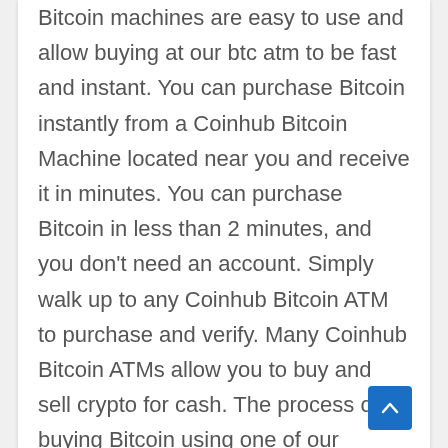Bitcoin machines are easy to use and allow buying at our btc atm to be fast and instant. You can purchase Bitcoin instantly from a Coinhub Bitcoin Machine located near you and receive it in minutes. You can purchase Bitcoin in less than 2 minutes, and you don't need an account. Simply walk up to any Coinhub Bitcoin ATM to purchase and verify. Many Coinhub Bitcoin ATMs allow you to buy and sell crypto for cash. The process of buying Bitcoin using one of our Bitcoin ATMs is as follows: First locate the closest Bitcoin ATM near you in your city by visiting our Coinhub Bitcoin ATM Locator. Enter your phone number and walk up to the machine. You will then verify your phone with a code and scan your bitcoin wallet. Enter each bill one at a time to determine the amount you wish to purchase. After that, confirm the purchase by entering the bitcoin atm. Bitcoin is then instantly sent to your wallet. The daily limit for buying Bitcoin is $25,000. We